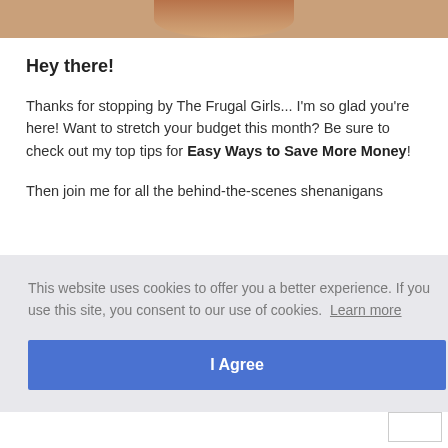[Figure (photo): Top portion of a person's photo, cropped at shoulder/head level, warm brown tones]
Hey there!
Thanks for stopping by The Frugal Girls... I'm so glad you're here! Want to stretch your budget this month? Be sure to check out my top tips for Easy Ways to Save More Money!
Then join me for all the behind-the-scenes shenanigans
This website uses cookies to offer you a better experience. If you use this site, you consent to our use of cookies. Learn more
I Agree